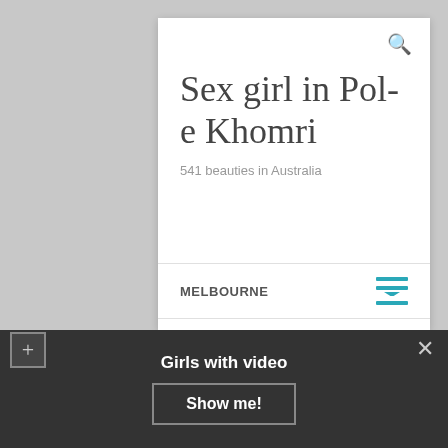Sex girl in Pol-e Khomri
541 beauties in Australia
MELBOURNE
Melbourne sex escorts
Girls with video
Show me!